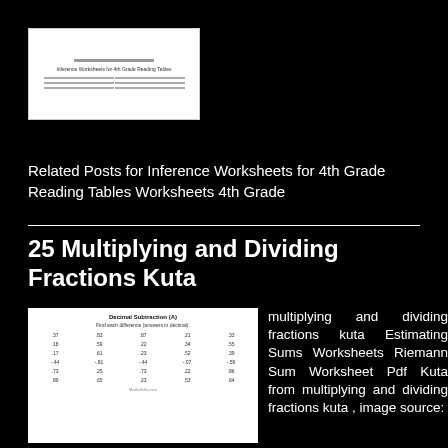[Figure (screenshot): Small thumbnail of a worksheet document showing text lines]
Related Posts for Inference Worksheets for 4th Grade Reading Tables Worksheets 4th Grade
25 Multiplying and Dividing Fractions Kuta
[Figure (screenshot): Thumbnail of a Decimal Subtraction worksheet with a grid of numbers arranged in 5 columns and 6 rows]
multiplying and dividing fractions kuta Estimating Sums Worksheets Riemann Sum Worksheet Pdf Kuta from multiplying and dividing fractions kuta , image source: